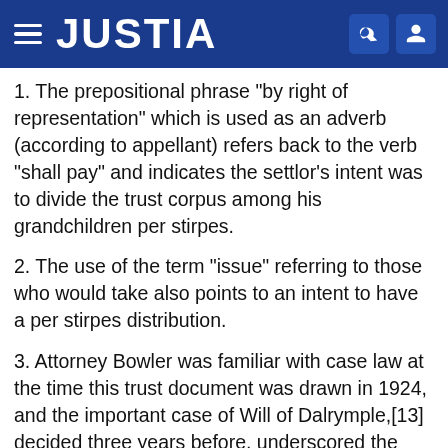JUSTIA
1. The prepositional phrase "by right of representation" which is used as an adverb (according to appellant) refers back to the verb "shall pay" and indicates the settlor's intent was to divide the trust corpus among his grandchildren per stirpes.
2. The use of the term "issue" referring to those who would take also points to an intent to have a per stirpes distribution.
3. Attorney Bowler was familiar with case law at the time this trust document was drawn in 1924, and the important case of Will of Dalrymple,[13] decided three years before, underscored the necessity for a comma to indicate that a modifying clause was intended to modify all preceding clauses.
On her point of grammar, appellant contends that the